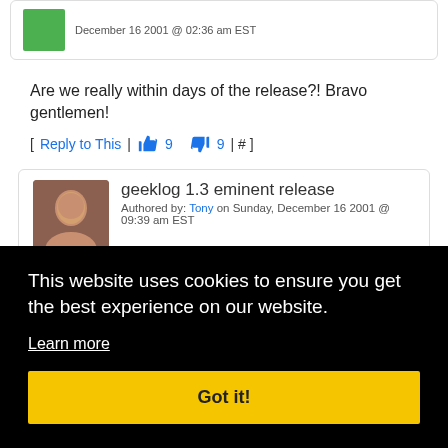Authored by: Anonymous (Anonymous User) on Sunday, December 16 2001 @ 02:36 am EST
Are we really within days of the release?! Bravo gentlemen!
[ Reply to This | 9  9 | # ]
geeklog 1.3 eminent release
Authored by: Tony on Sunday, December 16 2001 @ 09:39 am EST
This website uses cookies to ensure you get the best experience on our website.
Learn more
Got it!